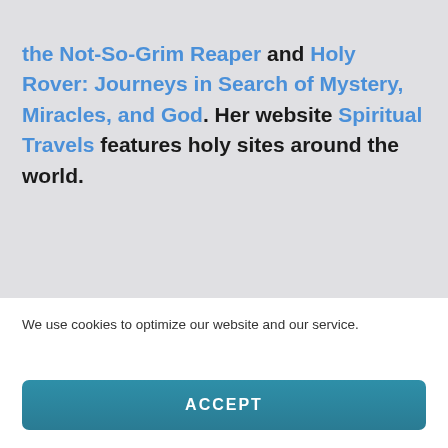the Not-So-Grim Reaper and Holy Rover: Journeys in Search of Mystery, Miracles, and God. Her website Spiritual Travels features holy sites around the world.
Share This!
[Figure (other): Three social media share buttons: Facebook (blue), Twitter (light blue), Pinterest (red), partially visible at bottom of main content area]
We use cookies to optimize our website and our service.
ACCEPT